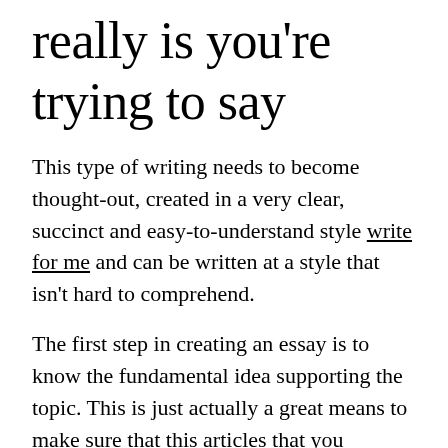really is you're trying to say
This type of writing needs to become thought-out, created in a very clear, succinct and easy-to-understand style write for me and can be written at a style that isn't hard to comprehend.
The first step in creating an essay is to know the fundamental idea supporting the topic. This is just actually a great means to make sure that this articles that you provide about the topic is more relevant and your readers will discover that it is simple to comprehend. Without having a great